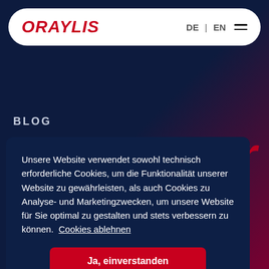[Figure (screenshot): Oraylis website header with logo and navigation bar with DE | EN language toggle and hamburger menu, on dark navy-to-crimson gradient background]
ORAYLIS   DE | EN
BLOG
Unsere Website verwendet sowohl technisch erforderliche Cookies, um die Funktionalität unserer Website zu gewährleisten, als auch Cookies zu Analyse- und Marketingzwecken, um unsere Website für Sie optimal zu gestalten und stets verbessern zu können.  Cookies ablehnen
Ja, einverstanden